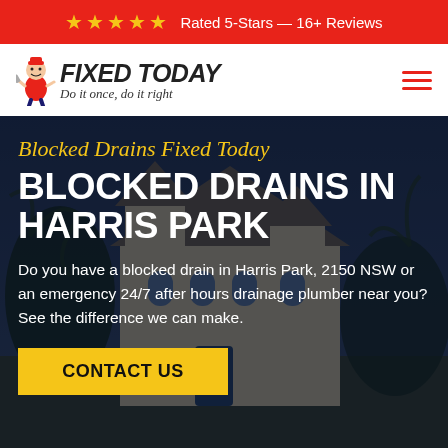★★★★★ Rated 5-Stars — 16+ Reviews
[Figure (logo): Fixed Today plumbing company logo with mascot character holding a wrench, text reads FIXED TODAY with tagline 'Do it once, do it right']
Blocked Drains Fixed Today
BLOCKED DRAINS IN HARRIS PARK
Do you have a blocked drain in Harris Park, 2150 NSW or an emergency 24/7 after hours drainage plumber near you? See the difference we can make.
CONTACT US